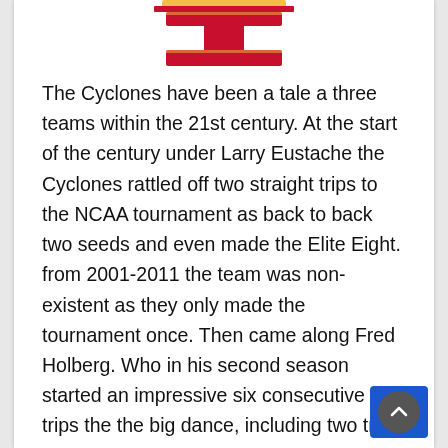[Figure (logo): Iowa State Cyclones logo — partial view showing a red and gold 'I' letter mark with decorative top border]
The Cyclones have been a tale a three teams within the 21st century. At the start of the century under Larry Eustache the Cyclones rattled off two straight trips to the NCAA tournament as back to back two seeds and even made the Elite Eight. from 2001-2011 the team was non-existent as they only made the tournament once. Then came along Fred Holberg. Who in his second season started an impressive six consecutive trips the the big dance, including two trips to the Sweet 16. He brought the cyclones from a nobody all the way back and even achieved a ranking as high as #4 in the AP poll. Kansas however, has been